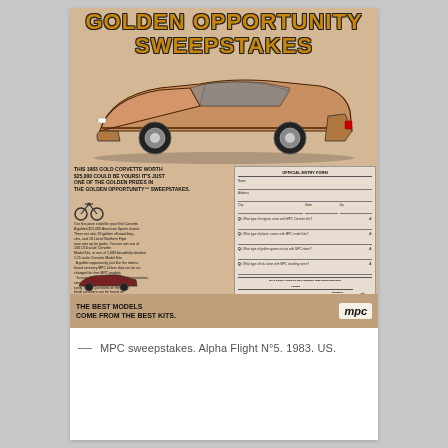[Figure (illustration): Vintage 1983 MPC Golden Opportunity Sweepstakes advertisement. Features large orange/yellow headline text 'GOLDEN OPPORTUNITY SWEEPSTAKES' at top, a gold/tan colored 1983 Corvette sports car illustration in center, text describing prizes including the Corvette worth $25,000, golden off-road bicycles, Lionel Northern Flyer train sets, Corvette Model Kits. An official entry form on the right side with Q&A fields. Bottom shows a toy car model image, MPC logo, and slogan 'THE BEST MODELS COME FROM THE BEST KITS'. Copyright line and thevintagetoadvertiser.com watermark at bottom.]
MPC sweepstakes. Alpha Flight N°5. 1983. US.